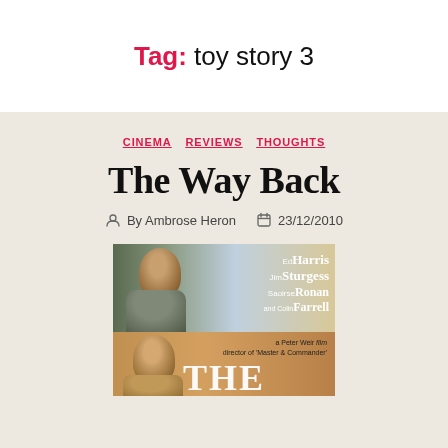Tag: toy story 3
CINEMA  REVIEWS  THOUGHTS
The Way Back
By Ambrose Heron  23/12/2010
[Figure (photo): Movie poster for The Way Back featuring Ed Harris, Jim Sturgess, Saoirse Ronan, and Colin Farrell, a Peter Weir film, director of Master & Commander]